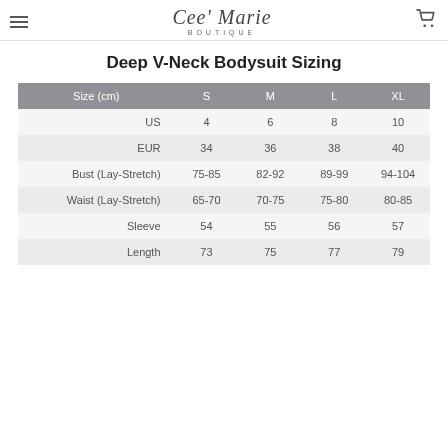Cee Marie Boutique
Deep V-Neck Bodysuit Sizing
| Size (cm) | S | M | L | XL |
| --- | --- | --- | --- | --- |
| US | 4 | 6 | 8 | 10 |
| EUR | 34 | 36 | 38 | 40 |
| Bust (Lay-Stretch) | 75-85 | 82-92 | 89-99 | 94-104 |
| Waist (Lay-Stretch) | 65-70 | 70-75 | 75-80 | 80-85 |
| Sleeve | 54 | 55 | 56 | 57 |
| Length | 73 | 75 | 77 | 79 |